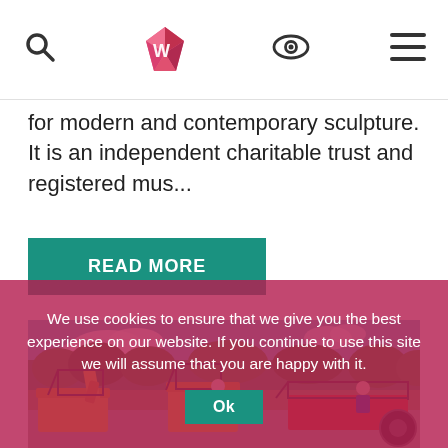[navigation bar with search, logo, eye icon, menu icon]
for modern and contemporary sculpture. It is an independent charitable trust and registered mus...
READ MORE
[Figure (photo): Outdoor scene showing people on yellow construction/digger vehicles with green hedgerow in background under blue sky]
We use cookies to ensure that we give you the best experience on our website. If you continue to use this site we will assume that you are happy with it.
Ok